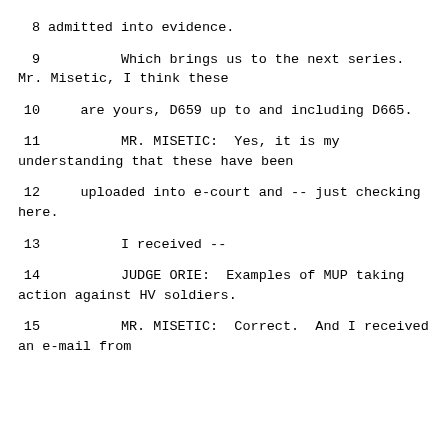8    admitted into evidence.
9         Which brings us to the next series. Mr. Misetic, I think these
10    are yours, D659 up to and including D665.
11         MR. MISETIC:  Yes, it is my understanding that these have been
12    uploaded into e-court and -- just checking here.
13         I received --
14         JUDGE ORIE:  Examples of MUP taking action against HV soldiers.
15         MR. MISETIC:  Correct.  And I received an e-mail from